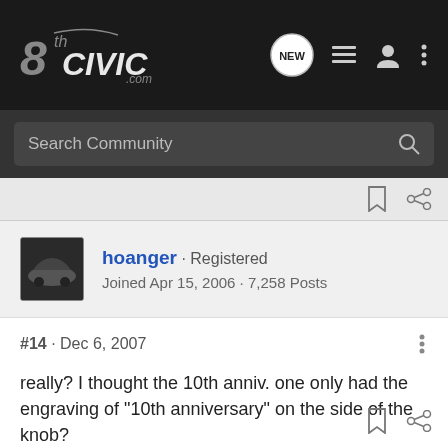8thCivic.com — Search Community
hoanger · Registered
Joined Apr 15, 2006 · 7,258 Posts
#14 · Dec 6, 2007
really? I thought the 10th anniv. one only had the engraving of "10th anniversary" on the side of the knob?